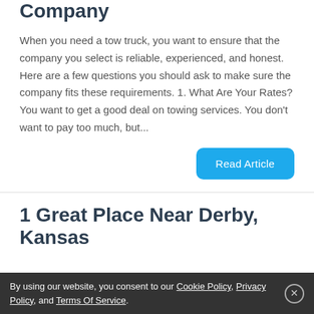Company
When you need a tow truck, you want to ensure that the company you select is reliable, experienced, and honest. Here are a few questions you should ask to make sure the company fits these requirements. 1. What Are Your Rates? You want to get a good deal on towing services. You don't want to pay too much, but...
Read Article
1 Great Place Near Derby, Kansas
By using our website, you consent to our Cookie Policy, Privacy Policy, and Terms Of Service.